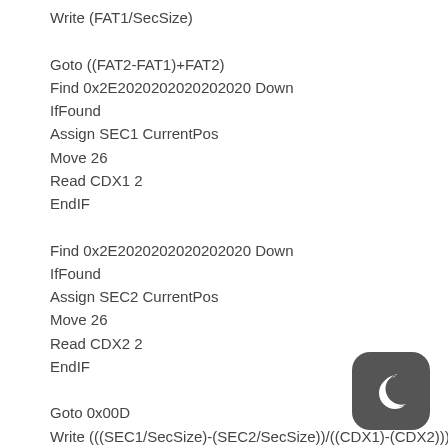Write (FAT1/SecSize)

Goto ((FAT2-FAT1)+FAT2)
Find 0x2E2020202020202020 Down
IfFound
Assign SEC1 CurrentPos
Move 26
Read CDX1 2
EndIF

Find 0x2E2020202020202020 Down
IfFound
Assign SEC2 CurrentPos
Move 26
Read CDX2 2
EndIF

Goto 0x00D
Write (((SEC1/SecSize)-(SEC2/SecSize))/((CDX1)-(CDX2)))
[Figure (logo): Dark rounded square logo with white crescent moon icon]